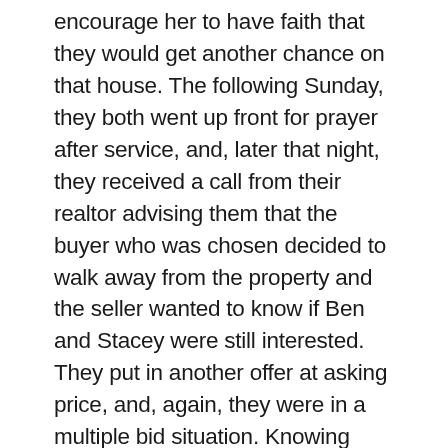encourage her to have faith that they would get another chance on that house. The following Sunday, they both went up front for prayer after service, and, later that night, they received a call from their realtor advising them that the buyer who was chosen decided to walk away from the property and the seller wanted to know if Ben and Stacey were still interested. They put in another offer at asking price, and, again, they were in a multiple bid situation. Knowing they couldn't offer more than asking price, which could hinder their chances of being selected, they prayed for God to give them peace with whatever the outcome was. On Tuesday, October 17, 2017, their realtor called to inform them that the seller had not only chosen them but they chose to do something the realtor had never